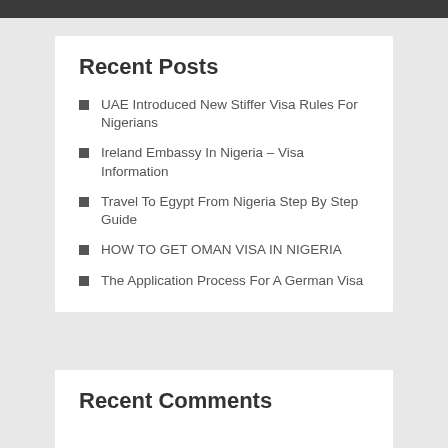Recent Posts
UAE Introduced New Stiffer Visa Rules For Nigerians
Ireland Embassy In Nigeria – Visa Information
Travel To Egypt From Nigeria Step By Step Guide
HOW TO GET OMAN VISA IN NIGERIA
The Application Process For A German Visa
Recent Comments